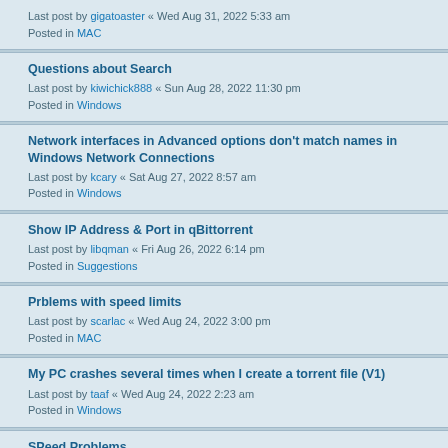Last post by gigatoaster « Wed Aug 31, 2022 5:33 am
Posted in MAC
Questions about Search
Last post by kiwichick888 « Sun Aug 28, 2022 11:30 pm
Posted in Windows
Network interfaces in Advanced options don't match names in Windows Network Connections
Last post by kcary « Sat Aug 27, 2022 8:57 am
Posted in Windows
Show IP Address & Port in qBittorrent
Last post by libqman « Fri Aug 26, 2022 6:14 pm
Posted in Suggestions
Prblems with speed limits
Last post by scarlac « Wed Aug 24, 2022 3:00 pm
Posted in MAC
My PC crashes several times when I create a torrent file (V1)
Last post by taaf « Wed Aug 24, 2022 2:23 am
Posted in Windows
SPeed Problems
Last post by rkruz3 « Tue Aug 23, 2022 5:08 pm
Posted in Windows
4.4.2 weird behavior with torrents auto-import, removed torrent file
Last post by postcd « Mon Aug 22, 2022 6:37 am
Posted in Linux
I have two questions